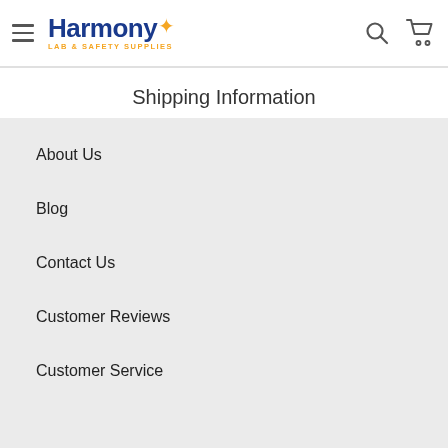[Figure (logo): Harmony Lab & Safety Supplies logo with hamburger menu, search icon, and cart icon in navigation header]
Shipping Information
About Us
Blog
Contact Us
Customer Reviews
Customer Service